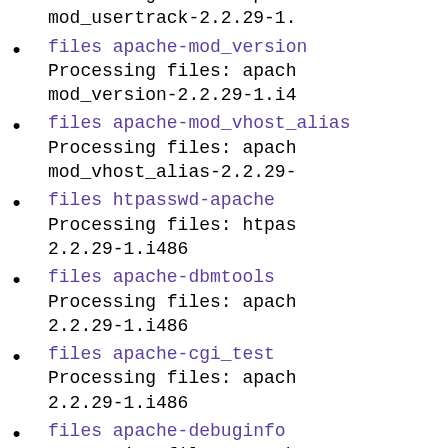files apache-mod_version
Processing files: apache-mod_version-2.2.29-1.i4…
files apache-mod_vhost_alias
Processing files: apache-mod_vhost_alias-2.2.29-…
files htpasswd-apache
Processing files: htpasswd-apache-2.2.29-1.i486
files apache-dbmtools
Processing files: apache-dbmtools-2.2.29-1.i486
files apache-cgi_test
Processing files: apache-cgi_test-2.2.29-1.i486
files apache-debuginfo
Processing files: apache-debuginfo-2.2.29-1.i486
clean
Executing(%clean): /bin/sh -e /tmp/B.e580372e-b877-4a…/tmp/dafd0o46o80f/BUILD/tmp/…